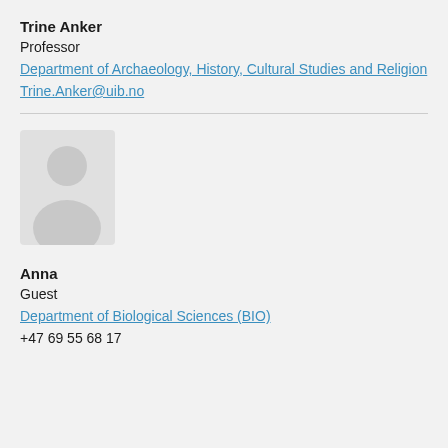Trine Anker
Professor
Department of Archaeology, History, Cultural Studies and Religion
Trine.Anker@uib.no
[Figure (illustration): Default user avatar placeholder — grey silhouette of a person (head and shoulders) on a light grey background]
Anna
Guest
Department of Biological Sciences (BIO)
+47 69 55 68 17